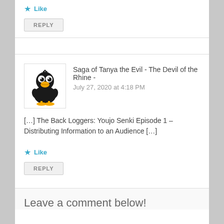Like
REPLY
Saga of Tanya the Evil - The Devil of the Rhine -
July 27, 2020 at 4:18 PM
[Figure (illustration): Cartoon black bird character with yellow beak and feet, standing upright]
[…] The Back Loggers: Youjo Senki Episode 1 – Distributing Information to an Audience […]
Like
REPLY
Leave a comment below!